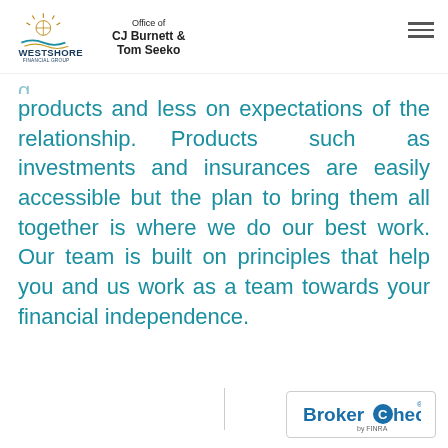Office of CJ Burnett & Tom Seeko — Westshore Financial Group
products and less on expectations of the relationship. Products such as investments and insurances are easily accessible but the plan to bring them all together is where we do our best work. Our team is built on principles that help you and us work as a team towards your financial independence.
[Figure (logo): BrokerCheck by FINRA logo]